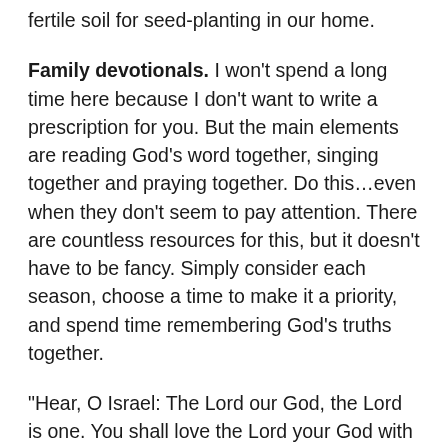fertile soil for seed-planting in our home.
Family devotionals. I won't spend a long time here because I don't want to write a prescription for you. But the main elements are reading God's word together, singing together and praying together. Do this…even when they don't seem to pay attention. There are countless resources for this, but it doesn't have to be fancy. Simply consider each season, choose a time to make it a priority, and spend time remembering God's truths together.
“Hear, O Israel: The Lord our God, the Lord is one. You shall love the Lord your God with all your heart and with all your soul and with all your might. And these words that I command you today shall be on your heart. You shall teach them diligently to your children, and shall talk of